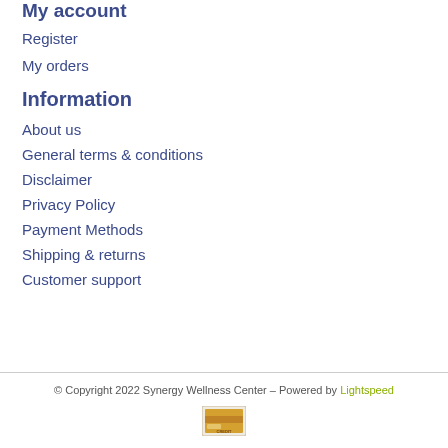My account
Register
My orders
Information
About us
General terms & conditions
Disclaimer
Privacy Policy
Payment Methods
Shipping & returns
Customer support
© Copyright 2022 Synergy Wellness Center – Powered by Lightspeed
[Figure (other): Payment method icon showing a credit card image]